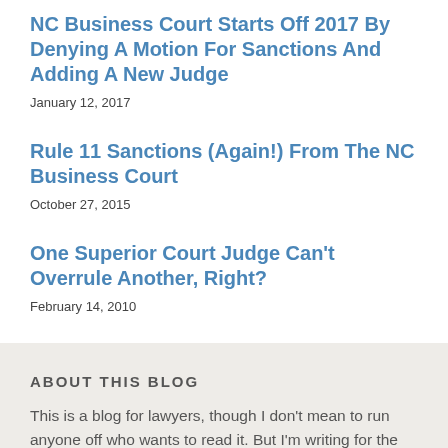NC Business Court Starts Off 2017 By Denying A Motion For Sanctions And Adding A New Judge
January 12, 2017
Rule 11 Sanctions (Again!) From The NC Business Court
October 27, 2015
One Superior Court Judge Can't Overrule Another, Right?
February 14, 2010
ABOUT THIS BLOG
This is a blog for lawyers, though I don't mean to run anyone off who wants to read it. But I'm writing for the most part about cases that involve issues of North Carolina business law, and the shortest description of